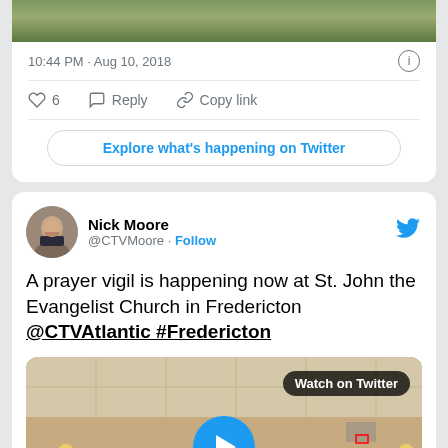[Figure (photo): Top portion of a tweet card showing a cropped outdoor photo (grass and pavement)]
10:44 PM · Aug 10, 2018
♡ 6   Reply   Copy link
Explore what's happening on Twitter
[Figure (photo): Twitter avatar of Nick Moore, a man in a suit with a beard]
Nick Moore
@CTVMoore · Follow
A prayer vigil is happening now at St. John the Evangelist Church in Fredericton @CTVAtlantic #Fredericton
[Figure (screenshot): Video thumbnail of a church hall filled with people attending a prayer vigil, with a Watch on Twitter badge and a play button overlay]